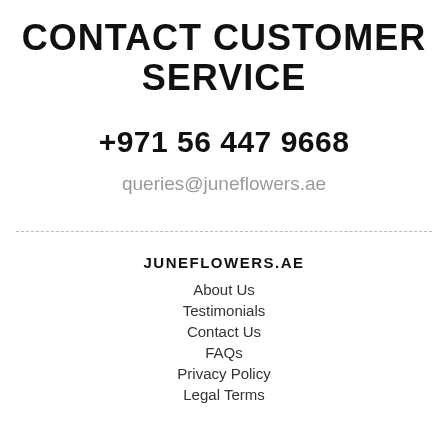CONTACT CUSTOMER SERVICE
+971 56 447 9668
queries@juneflowers.ae
JUNEFLOWERS.AE
About Us
Testimonials
Contact Us
FAQs
Privacy Policy
Legal Terms